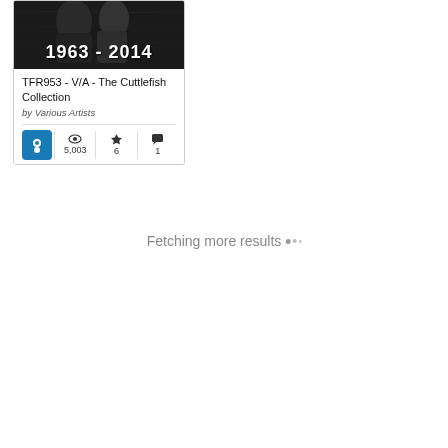[Figure (illustration): Music album card with black and white photo image and year range '1963 - 2014', showing album title, artist, and stats]
TFR953 - V/A - The Cuttlefish Collection by Various Artists
5,003 views, 6 favorites, 1 comment
Fetching more results